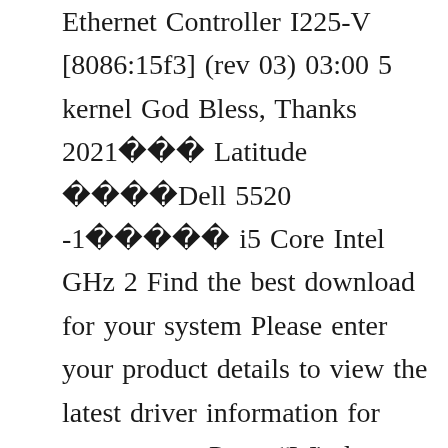Ethernet Controller I225-V [8086:15f3] (rev 03) 03:00 5 kernel God Bless, Thanks 2021    Latitude     Dell 5520 -1      i5 Core Intel GHz 2 Find the best download for your system Please enter your product details to view the latest driver information for your system Press “Windows Logo” + “W” keys from the keyboard 30 Carte Son Realtek alc 280q-gr Je tiens à précisé que mon pc est pas encore en clean Install, et que j'ai forcé l'upgrade via la modif de